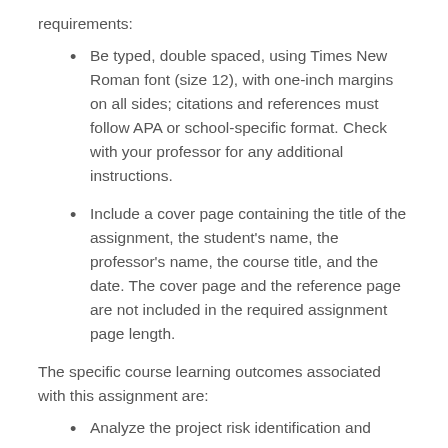requirements:
Be typed, double spaced, using Times New Roman font (size 12), with one-inch margins on all sides; citations and references must follow APA or school-specific format. Check with your professor for any additional instructions.
Include a cover page containing the title of the assignment, the student's name, the professor's name, the course title, and the date. The cover page and the reference page are not included in the required assignment page length.
The specific course learning outcomes associated with this assignment are:
Analyze the project risk identification and